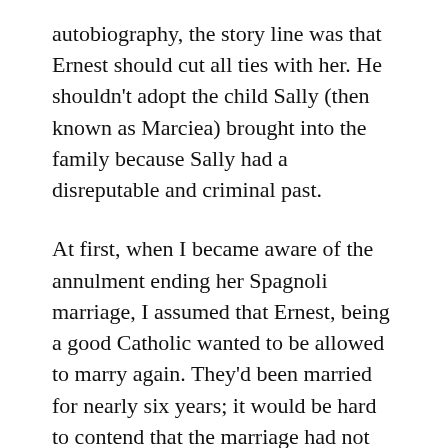autobiography, the story line was that Ernest should cut all ties with her. He shouldn't adopt the child Sally (then known as Marciea) brought into the family because Sally had a disreputable and criminal past.
At first, when I became aware of the annulment ending her Spagnoli marriage, I assumed that Ernest, being a good Catholic wanted to be allowed to marry again. They'd been married for nearly six years; it would be hard to contend that the marriage had not been consummated. Spagnoli was known for his courtroom antics and the ability to maneuver around the law, so I imagined that maybe he slipped a few dollars to some needy fellow who would claim to have